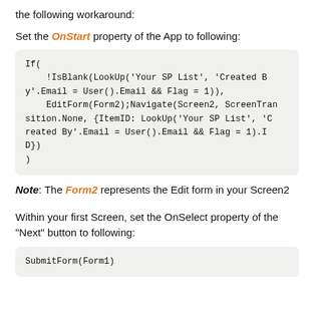the following workaround:
Set the OnStart property of the App to following:
If(
    !IsBlank(LookUp('Your SP List', 'Created By'.Email = User().Email && Flag = 1)),
    EditForm(Form2);Navigate(Screen2, ScreenTransition.None, {ItemID: LookUp('Your SP List', 'Created By'.Email = User().Email && Flag = 1).ID})
)
Note: The Form2 represents the Edit form in your Screen2
Within your first Screen, set the OnSelect property of the "Next" button to following:
SubmitForm(Form1)